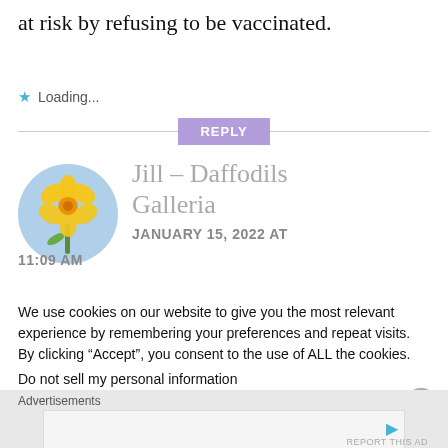at risk by refusing to be vaccinated.
Loading...
REPLY
[Figure (photo): Circular avatar photo of a yellow daffodil flower against a light blue sky background]
Jill - Daffodils Galleria
JANUARY 15, 2022 AT 11:09 AM
We use cookies on our website to give you the most relevant experience by remembering your preferences and repeat visits. By clicking “Accept”, you consent to the use of ALL the cookies.
Do not sell my personal information
Advertisements